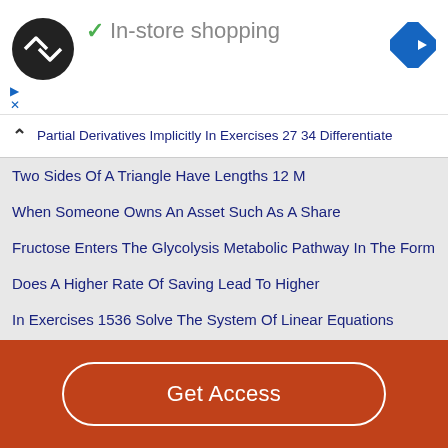[Figure (logo): Black circle logo with double arrow symbol and In-store shopping ad banner]
Partial Derivatives Implicitly In Exercises 27 34 Differentiate
Two Sides Of A Triangle Have Lengths 12 M
When Someone Owns An Asset Such As A Share
Fructose Enters The Glycolysis Metabolic Pathway In The Form
Does A Higher Rate Of Saving Lead To Higher
In Exercises 1536 Solve The System Of Linear Equations
Graph Each Equation For Value Of X Between 0
Use A Graphing Calculator To Check Your Graphs For
Get Access